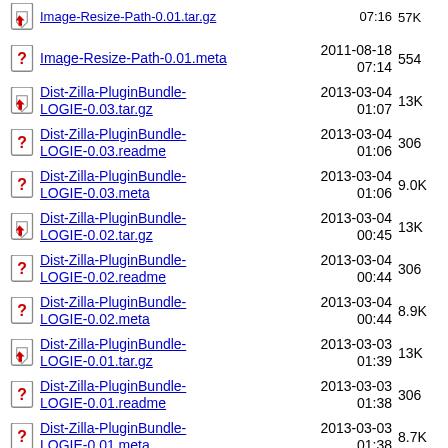Image-Resize-Path-0.01.meta  2011-08-18 07:14  554
Dist-Zilla-PluginBundle-LOGIE-0.03.tar.gz  2013-03-04 01:07  13K
Dist-Zilla-PluginBundle-LOGIE-0.03.readme  2013-03-04 01:06  306
Dist-Zilla-PluginBundle-LOGIE-0.03.meta  2013-03-04 01:06  9.0K
Dist-Zilla-PluginBundle-LOGIE-0.02.tar.gz  2013-03-04 00:45  13K
Dist-Zilla-PluginBundle-LOGIE-0.02.readme  2013-03-04 00:44  306
Dist-Zilla-PluginBundle-LOGIE-0.02.meta  2013-03-04 00:44  8.9K
Dist-Zilla-PluginBundle-LOGIE-0.01.tar.gz  2013-03-03 01:39  13K
Dist-Zilla-PluginBundle-LOGIE-0.01.readme  2013-03-03 01:38  306
Dist-Zilla-PluginBundle-LOGIE-0.01.meta  2013-03-03 01:38  8.7K
Dist-Zilla-PluginBundle-Author-LOGIE-0.04.tar.gz  2013-03-23 03:59  83K